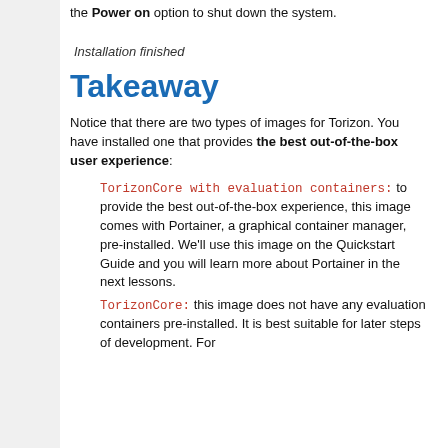the Power on option to shut down the system.
Installation finished
Takeaway
Notice that there are two types of images for Torizon. You have installed one that provides the best out-of-the-box user experience:
TorizonCore with evaluation containers: to provide the best out-of-the-box experience, this image comes with Portainer, a graphical container manager, pre-installed. We'll use this image on the Quickstart Guide and you will learn more about Portainer in the next lessons.
TorizonCore: this image does not have any evaluation containers pre-installed. It is best suitable for later steps of development. For